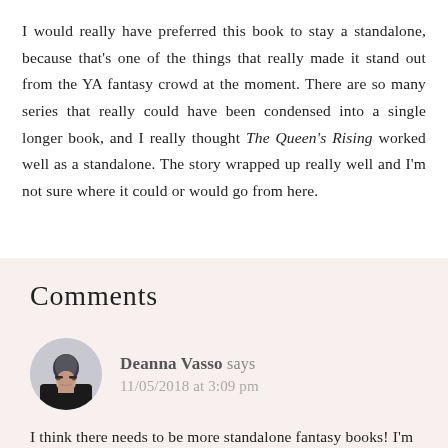I would really have preferred this book to stay a standalone, because that's one of the things that really made it stand out from the YA fantasy crowd at the moment. There are so many series that really could have been condensed into a single longer book, and I really thought The Queen's Rising worked well as a standalone. The story wrapped up really well and I'm not sure where it could or would go from here.
Comments
Deanna Vasso says
11/05/2018 at 3:09 pm
I think there needs to be more standalone fantasy books! I'm tired of reading series because I feel like the first book is so slow! I think i would feel the same way as you do about this book.